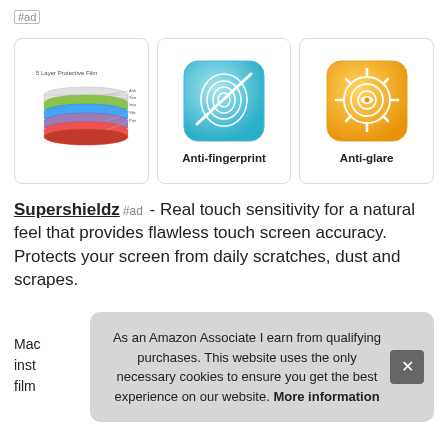#ad
[Figure (illustration): Three product feature cards in a row: (1) 5 Layer Protective Film diagram showing layered colored sheets with labels, (2) Anti-fingerprint icon - blue gradient rounded square with fingerprint and slash, (3) Anti-glare icon - orange/yellow rounded square with eye and sun/glow symbol. Cards labeled 'Anti-fingerprint' and 'Anti-glare'.]
Supershieldz #ad - Real touch sensitivity for a natural feel that provides flawless touch screen accuracy. Protects your screen from daily scratches, dust and scrapes.
Ma
ins
film
As an Amazon Associate I earn from qualifying purchases. This website uses the only necessary cookies to ensure you get the best experience on our website. More information